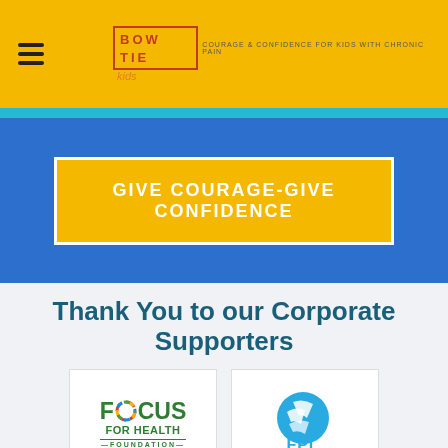[Figure (logo): BOWTIE kids logo with tagline 'Courage & Confidence for Kids with Chronic Pain' on a yellow header bar with hamburger menu icon]
GIVE COURAGE-GIVE CONFIDENCE
Thank You to our Corporate Supporters
[Figure (logo): Focus for Health Foundation logo - green text with colorful circular icon replacing the O]
[Figure (logo): FPL (Florida Power & Light) logo - blue circle with white lightning bolt marks and FPL text in teal]